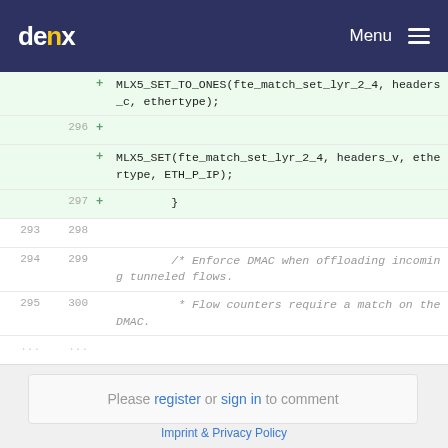denx Menu
[Figure (screenshot): Code diff view showing added lines (MLX5_SET_TO_ONES and MLX5_SET calls) and unchanged comment lines about enforcing DMAC for tunneled flows]
Please register or sign in to comment
Imprint & Privacy Policy